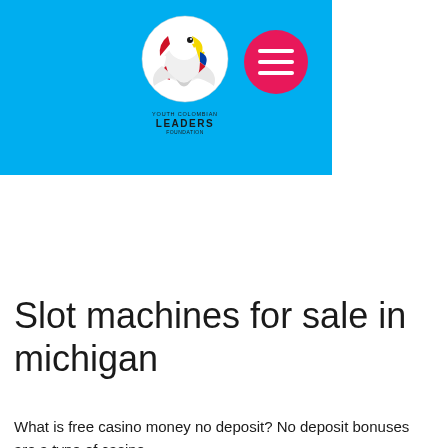[Figure (logo): Youth Colombian Leaders Foundation logo — circular emblem with eagle/dove and Colombian flag colors (yellow, blue, red) combined with US flag stripes, with text 'YOUTH COLOMBIAN LEADERS FOUNDATION' below]
[Figure (other): Pink/magenta circular hamburger menu button with three white horizontal lines]
Slot machines for sale in michigan
What is free casino money no deposit? No deposit bonuses are a type of casino